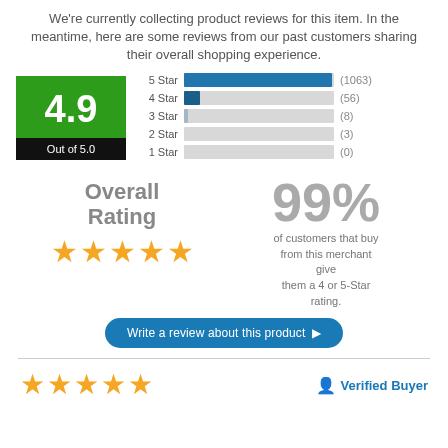We're currently collecting product reviews for this item. In the meantime, here are some reviews from our past customers sharing their overall shopping experience.
[Figure (bar-chart): Star Rating Distribution]
Overall Rating
99%
of customers that buy from this merchant give them a 4 or 5-Star rating.
Write a review about this product ▶
Verified Buyer